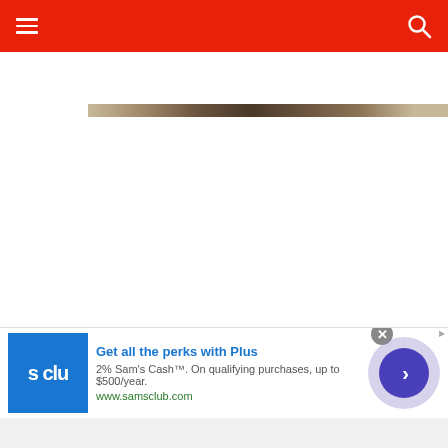Navigation bar with hamburger menu and search icon
[Figure (photo): Partial photo strip showing what appears to be a wooden fence or structure with a cat visible on the right side, cropped at the top of the page below the navigation bar]
[Figure (other): Advertisement banner for Sam's Club Plus membership. Logo shows 's clu' in white text on blue background. Text reads: Get all the perks with Plus. 2% Sam's Cash™. On qualifying purchases, up to $500/year. www.samsclub.com. Has a close button (X) and a blue forward arrow button.]